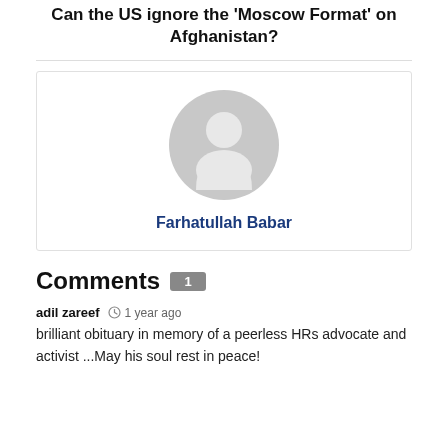Can the US ignore the 'Moscow Format' on Afghanistan?
[Figure (illustration): Author profile card with grey placeholder avatar icon (silhouette of a person) and author name 'Farhatullah Babar' in bold dark blue text below.]
Comments 1
adil zareef  1 year ago
brilliant obituary in memory of a peerless HRs advocate and activist ...May his soul rest in peace!